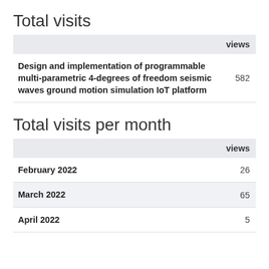Total visits
|  | views |
| --- | --- |
| Design and implementation of programmable multi-parametric 4-degrees of freedom seismic waves ground motion simulation IoT platform | 582 |
Total visits per month
|  | views |
| --- | --- |
| February 2022 | 26 |
| March 2022 | 65 |
| April 2022 | 5 |